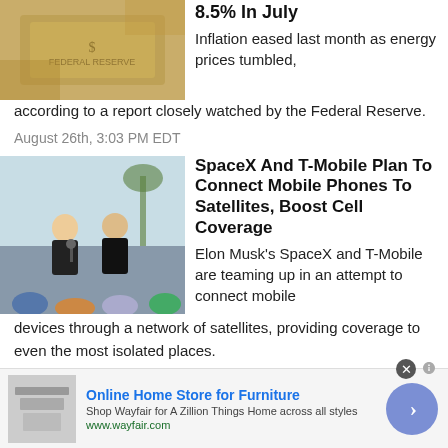[Figure (photo): Close-up of US dollar bills]
8.5% In July
Inflation eased last month as energy prices tumbled, according to a report closely watched by the Federal Reserve.
August 26th, 3:03 PM EDT
[Figure (photo): Two men on stage at an outdoor event, one wearing a black t-shirt with 'OCCUPY MARS' text, speaking to an audience]
SpaceX And T-Mobile Plan To Connect Mobile Phones To Satellites, Boost Cell Coverage
Elon Musk's SpaceX and T-Mobile are teaming up in an attempt to connect mobile devices through a network of satellites, providing coverage to even the most isolated places.
[Figure (screenshot): Wayfair advertisement: Online Home Store for Furniture. Shop Wayfair for A Zillion Things Home across all styles. www.wayfair.com]